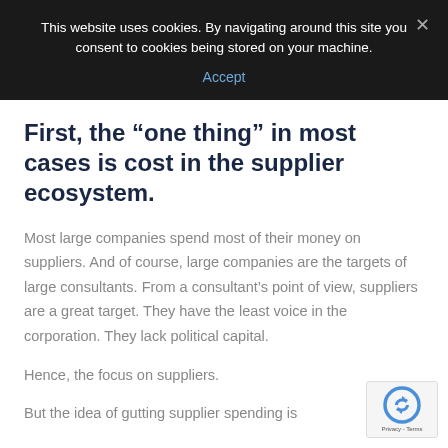This website uses cookies. By navigating around this site you consent to cookies being stored on your machine. Accept
First, the “one thing” in most cases is cost in the supplier ecosystem.
Most large companies spend most of their money on suppliers. And of course, large companies are the targets of large consultants. From a consultant’s point of view, suppliers are a great target. They have the least voice in the corporation. They lack political capital.
Hence, the focus on suppliers.
But the idea of gutting supplier spending is